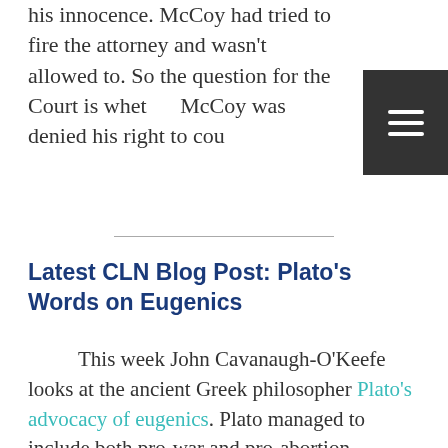his innocence. McCoy had tried to fire the attorney and wasn't allowed to. So the question for the Court is whet... McCoy was denied his right to cou...
[Figure (other): Dark gray hamburger menu button (three horizontal white lines) positioned at top right]
Latest CLN Blog Post: Plato's Words on Eugenics
This week John Cavanaugh-O'Keefe looks at the ancient Greek philosopher Plato's advocacy of eugenics. Plato managed to include both pro-war and pro-abortion sentiments in his advocacy of his ideal society. Eugenics has been one of the driving forces behind huge numbers of deaths through war, racism, and classism, and Plato's thinking was